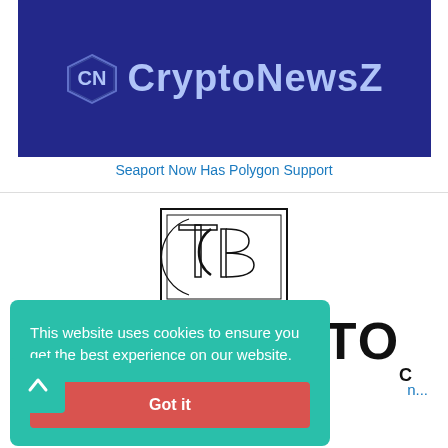[Figure (logo): CryptoNewsZ logo banner: dark navy blue background with CN hexagon icon and CryptoNewsZ text in light blue]
Seaport Now Has Polygon Support
[Figure (logo): The Crypto Basic (TCB) logo: rectangular border with stylized TCB monogram inside]
THE CRYPTO
n...
This website uses cookies to ensure you get the best experience on our website.
Got it
[Figure (logo): Small TCB logo at bottom of page]